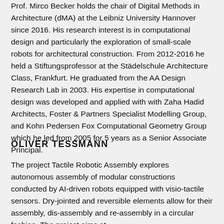Prof. Mirco Becker holds the chair of Digital Methods in Architecture (dMA) at the Leibniz University Hannover since 2016. His research interest is in computational design and particularly the exploration of small-scale robots for architectural construction. From 2012-2016 he held a Stiftungsprofessor at the Städelschule Architecture Class, Frankfurt. He graduated from the AA Design Research Lab in 2003. His expertise in computational design was developed and applied with with Zaha Hadid Architects, Foster & Partners Specialist Modelling Group, and Kohn Pedersen Fox Computational Geometry Group which he led from 2005 for 5 years as a Senior Associate Principal.
OLIVER TESSMANN
The project Tactile Robotic Assembly explores autonomous assembly of modular constructions conducted by AI-driven robots equipped with visio-tactile sensors. Dry-jointed and reversible elements allow for their assembly, dis-assembly and re-assembly in a circular fashion. The project aims at defining the next generation of forms for construction.